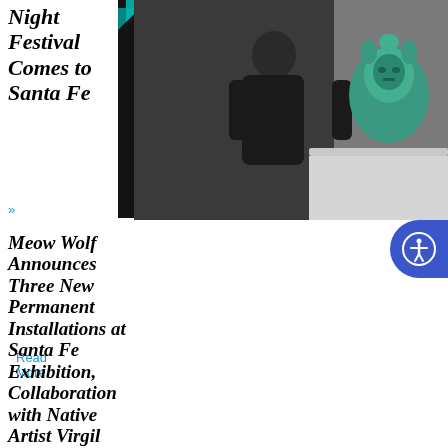Night Festival Comes to Santa Fe
[Figure (photo): Buffalo Thunder Resort & Casino event poster: Creative Native Night, August 19, Friday 8 PM – 2 AM, Music | Art]
[Figure (photo): Rock 'N' Round event poster: Tumble Brewery, August, Saturday 7P]
Read More »
Meow Wolf Announces Three New Permanent Installations at Santa Fe Exhibition, Collaboration with Native Artist Virgil Ortiz
[Figure (photo): Man in black t-shirt standing next to a turquoise Aztec/Mayan style ceramic sculpture against a dark grey background]